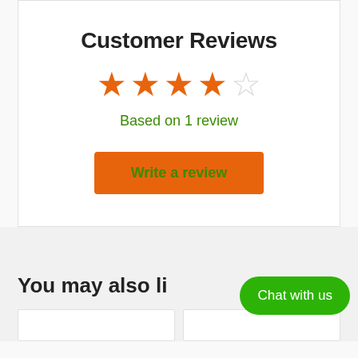Customer Reviews
[Figure (other): 4 out of 5 stars rating — 4 filled orange stars and 1 empty/outline star]
Based on 1 review
Write a review
You may also li...
[Figure (other): Green rounded button labeled 'Chat with us']